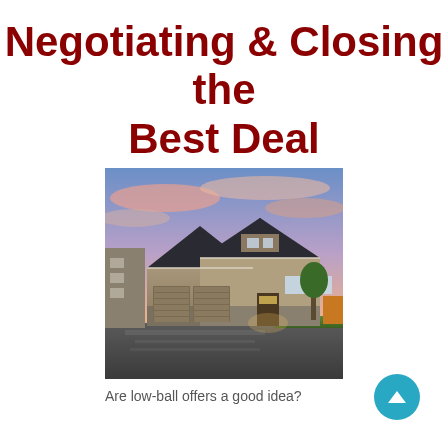Negotiating & Closing the Best Deal
[Figure (photo): Suburban house with craftsman-style architecture, three-car garage, and warm interior lighting against a dramatic pink-orange sunset sky, wet driveway in foreground.]
Are low-ball offers a good idea?